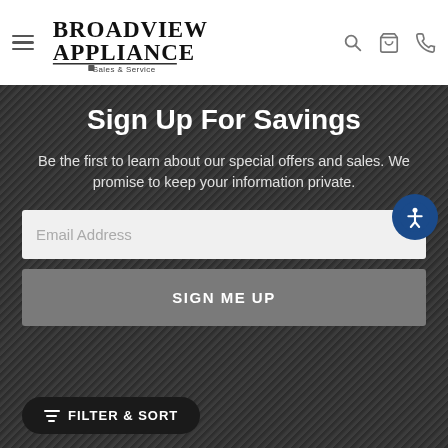Broadview Appliance Sales & Service — Navigation header with menu, logo, search, cart, and phone icons
Sign Up For Savings
Be the first to learn about our special offers and sales. We promise to keep your information private.
Email Address
SIGN ME UP
FILTER & SORT